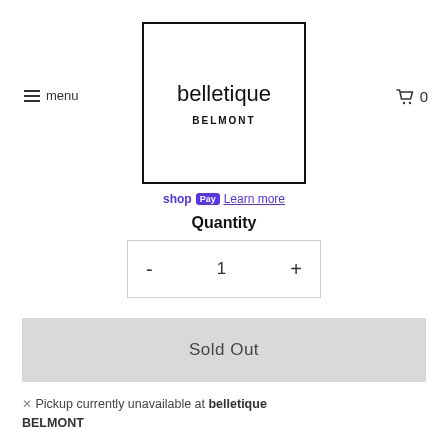[Figure (logo): Belletique Belmont store logo in a bordered square box]
≡ menu
🛒 0
shopPay Learn more
Quantity
- 1 +
Sold Out
✕ Pickup currently unavailable at belletique BELMONT